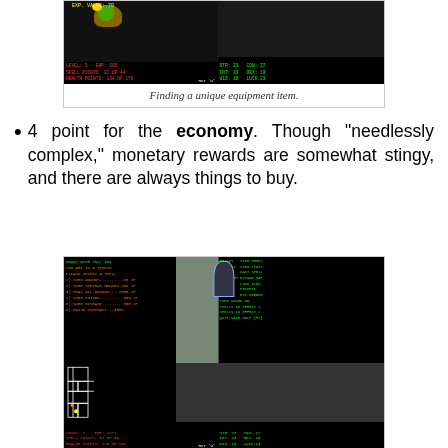[Figure (screenshot): Video game screenshot showing a character finding a unique equipment item. Left panel shows dark game view with yellow/green character. Right panel shows 3D checkerboard corridor in red and green. Bottom status bar shows LEVEL:5, EHP:885, SPELL POINTS:32 OF 44, HEALTH POINTS:134 OF 170. Right side stats: STR:23, CON:27, INT:23, DEX:18, WIZ:18, LUCK:23. EXP. VALUE: 70 shown at top.]
Finding a unique equipment item.
4 point for the economy. Though "needlessly complex," monetary rewards are somewhat stingy, and there are always things to buy.
[Figure (screenshot): Video game screenshot showing temple spell selection screen. Top-left panel: MONEY WITH YOU:$36, YOU ARE IN A TEMPLE, PLEASE SELECT A SPELL, 1)CURE WOUNDS...30 JP, 2)CURE SERIOUS WOUNDS.200 JP, 3)HEAL ALL WOUNDS....2500 JP, 4)CURE POISON.....300 JP, 5)CURE DISEASE.....500 JP, 6)RAISE CONTRACT...3500. Top-right panel shows game menu: BRICKS VIEW MONEY, WEAPONS VIEW STATS, ZOOM CAST SPELL, USE ITEM EXPAND MAP, ARMOR LOSE ITEM, FIGHT POCKETS, WAIT EXP NEEDED, TURN SOUND ON, SPELLS IN EFFECT 1, SPELLS IN EFFECT 2, QUIT-SAVE HELP [F1]. Center shows 3D corridor with door. Bottom-left shows map view. Bottom-right shows 3D checkerboard corridor. Status bar: LEVEL:7, EHP:1271, SPELL POINTS:57 OF 60, HEALTH POINTS:173 OF 234. Stats: STR:23, CON:27, INT:23, DEX:18, WIZ:18, LUCK:23.]